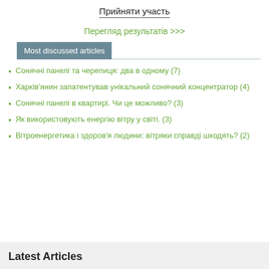Прийняти участь
Перегляд результатів >>>
Most discussed articles
Сонячні панелі та черепиця: два в одному (7)
Харків'янин запатентував унікальний сонячний концентратор (4)
Сонячні панелі в квартирі. Чи це можливо? (3)
Як використовують енергію вітру у світі. (3)
Вітроенергетика і здоров'я людини: вітряки справді шкодять? (2)
Latest Articles